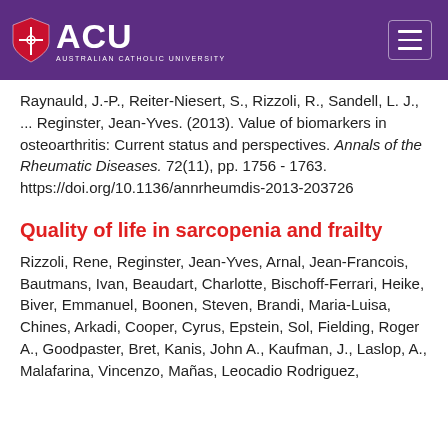ACU - Australian Catholic University
Raynauld, J.-P., Reiter-Niesert, S., Rizzoli, R., Sandell, L. J., ... Reginster, Jean-Yves. (2013). Value of biomarkers in osteoarthritis: Current status and perspectives. Annals of the Rheumatic Diseases. 72(11), pp. 1756 - 1763. https://doi.org/10.1136/annrheumdis-2013-203726
Quality of life in sarcopenia and frailty
Rizzoli, Rene, Reginster, Jean-Yves, Arnal, Jean-Francois, Bautmans, Ivan, Beaudart, Charlotte, Bischoff-Ferrari, Heike, Biver, Emmanuel, Boonen, Steven, Brandi, Maria-Luisa, Chines, Arkadi, Cooper, Cyrus, Epstein, Sol, Fielding, Roger A., Goodpaster, Bret, Kanis, John A., Kaufman, J., Laslop, A., Malafarina, Vincenzo, Mañas, Leocadio Rodriguez,